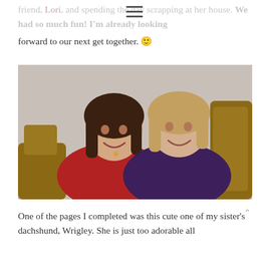friend, Lori, and spending the day scrapping at her house. We had so much fun! I'm already looking forward to our next get together. 🙂
[Figure (photo): Two women sitting together on a wicker/wooden chair, smiling at the camera. The woman on the left wears a red top and has dark shoulder-length hair. The woman on the right wears a dark purple top and has lighter, shoulder-length hair.]
One of the pages I completed was this cute one of my sister's dachshund, Wrigley. She is just too adorable all